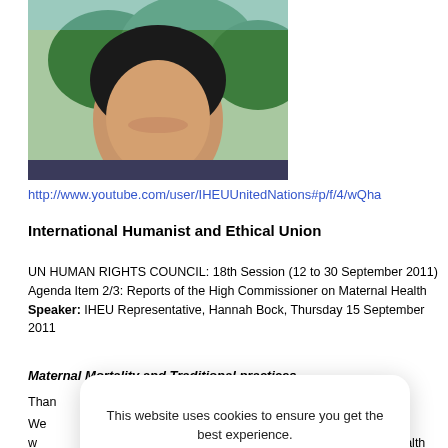[Figure (photo): Portrait photo of a young woman smiling outdoors with trees in background]
http://www.youtube.com/user/IHEUUnitedNations#p/f/4/wQha
International Humanist and Ethical Union
UN HUMAN RIGHTS COUNCIL: 18th Session (12 to 30 September 2011) Agenda Item 2/3: Reports of the High Commissioner on Maternal Health
Speaker: IHEU Representative, Hannah Bock, Thursday 15 September 2011
Maternal Mortality and Traditional practices
Than
We w ... ealth [A/HRC/18/27] and salute her remarkable work. In her report she noted